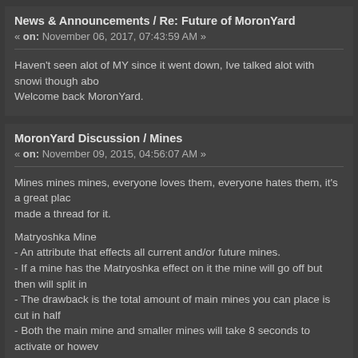News & Announcements / Re: Future of MoronYard
« on: November 06, 2017, 07:43:59 AM »
Haven't seen alot of MY since it went down, Ive talked alot with snowi though abo... Welcome back MoronYard.
MoronYard Discussion / Mines
« on: November 09, 2015, 04:56:07 AM »
Mines mines mines, everyone loves them, everyone hates them, it's a great plac... made a thread for it.
Matryoshka Mine
- An attribute that effects all current and/or future mines.
- If a mine has the Matryoshka effect on it the mine will go off but then will split in...
- The drawback is the total amount of main mines you can place is cut in half
- Both the main mine and smaller mines will take 8 seconds to activate or howev...
Tag Mine
-Once someone steps on the mine a countdown starts that once reaches 0 blows...
-To remove the countdown from yourself your playermodel must touch someone...